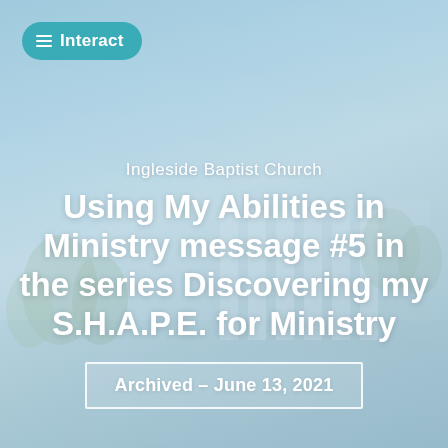[Figure (photo): Background photo of Ingleside Baptist Church building exterior with light blue sky, trees, and modern glass facade, overlaid with a light blue-teal color wash]
Interact
Ingleside Baptist Church
Using My Abilities in Ministry message #5 in the series Discovering my S.H.A.P.E. for Ministry
Archived – June 13, 2021